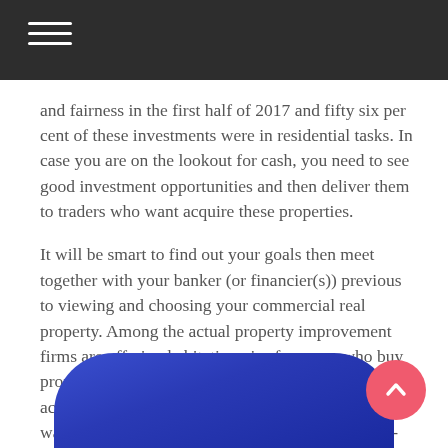and fairness in the first half of 2017 and fifty six per cent of these investments were in residential tasks. In case you are on the lookout for cash, you need to see good investment opportunities and then deliver them to traders who want acquire these properties.
It will be smart to find out your goals then meet together with your banker (or financier(s)) previous to viewing and choosing your commercial real property. Among the actual property improvement firms are offering habitation visa for many who buy properties from them. Actual property traders are actually creating notes to finance properties they want to purchase-then selling the notes in advance-then buying the property with the proceeds-in effect with little to no cash down; of their very own.
[Figure (illustration): Blue rounded rectangle shape at bottom of page, partially visible, with a pink/coral circular scroll-to-top button overlaid on the right side.]